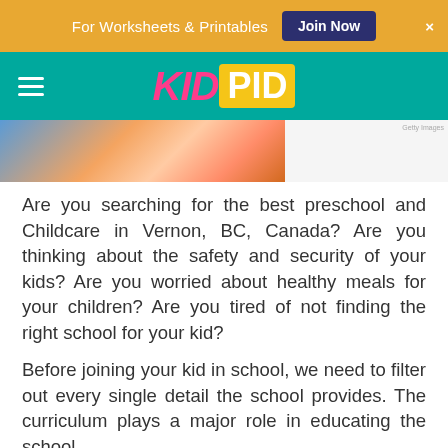For Worksheets & Printables  Join Now  ×
KID PID (logo/navigation header)
[Figure (photo): Partial view of children, cropped at top of content area]
Are you searching for the best preschool and Childcare in Vernon, BC, Canada? Are you thinking about the safety and security of your kids? Are you worried about healthy meals for your children? Are you tired of not finding the right school for your kid?
Before joining your kid in school, we need to filter out every single detail the school provides. The curriculum plays a major role in educating the school...